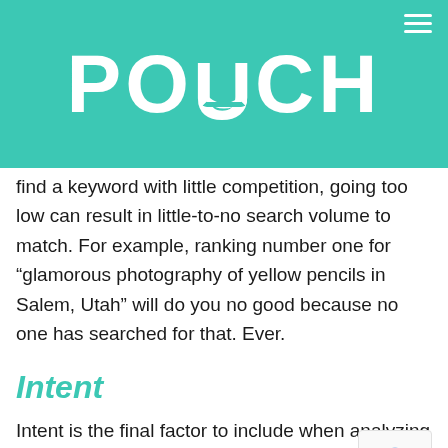[Figure (logo): POUCH logo in white text on teal background with a curved underline on the U, and a hamburger menu icon in the top right corner]
This is key because while you may want to find a keyword with little competition, going too low can result in little-to-no search volume to match. For example, ranking number one for “glamorous photography of yellow pencils in Salem, Utah” will do you no good because no one has searched for that. Ever.
Intent
Intent is the final factor to include when analyzing your list of keywords. Prioritize keywords that users with a higher